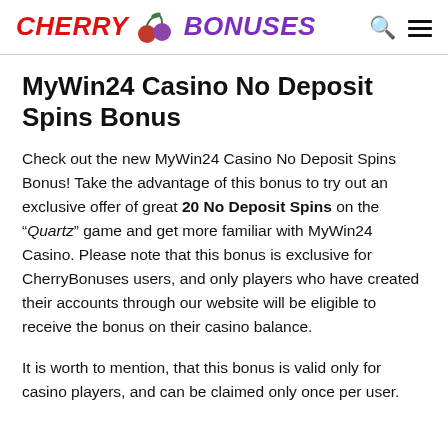CHERRY BONUSES
MyWin24 Casino No Deposit Spins Bonus
Check out the new MyWin24 Casino No Deposit Spins Bonus! Take the advantage of this bonus to try out an exclusive offer of great 20 No Deposit Spins on the “Quartz” game and get more familiar with MyWin24 Casino. Please note that this bonus is exclusive for CherryBonuses users, and only players who have created their accounts through our website will be eligible to receive the bonus on their casino balance.
It is worth to mention, that this bonus is valid only for casino players, and can be claimed only once per user.